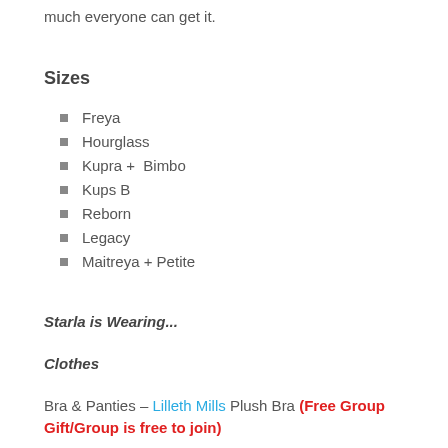much everyone can get it.
Sizes
Freya
Hourglass
Kupra +  Bimbo
Kups B
Reborn
Legacy
Maitreya + Petite
Starla is Wearing...
Clothes
Bra & Panties – Lilleth Mills Plush Bra (Free Group Gift/Group is free to join)